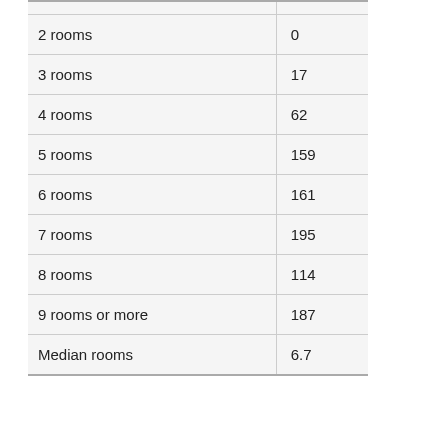| 2 rooms | 0 |
| 3 rooms | 17 |
| 4 rooms | 62 |
| 5 rooms | 159 |
| 6 rooms | 161 |
| 7 rooms | 195 |
| 8 rooms | 114 |
| 9 rooms or more | 187 |
| Median rooms | 6.7 |